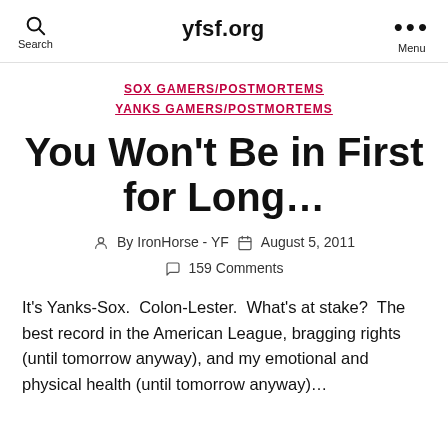yfsf.org
SOX GAMERS/POSTMORTEMS
YANKS GAMERS/POSTMORTEMS
You Won't Be in First for Long…
By IronHorse - YF   August 5, 2011   159 Comments
It's Yanks-Sox.  Colon-Lester.  What's at stake?  The best record in the American League, bragging rights (until tomorrow anyway), and my emotional and physical health (until tomorrow anyway)…